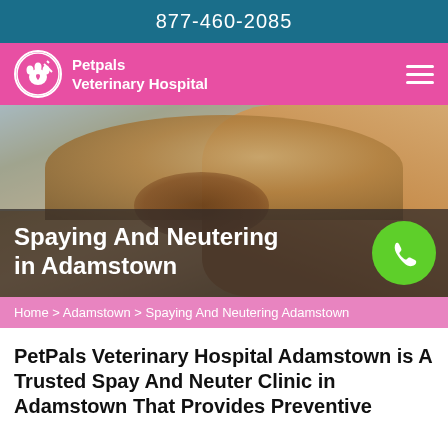877-460-2085
[Figure (logo): Petpals Veterinary Hospital logo with paw print icon on pink navigation bar]
[Figure (photo): Close-up photo of a brown and white dog lying down, with hero overlay text 'Spaying And Neutering in Adamstown' and a green phone button circle in the bottom right]
Spaying And Neutering in Adamstown
Home > Adamstown > Spaying And Neutering Adamstown
PetPals Veterinary Hospital Adamstown is A Trusted Spay And Neuter Clinic in Adamstown That Provides Preventive